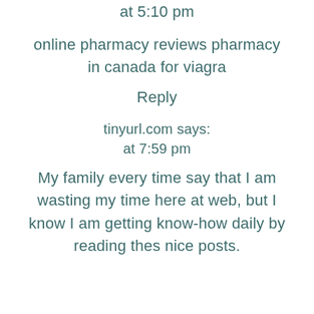at 5:10 pm
online pharmacy reviews pharmacy in canada for viagra
Reply
tinyurl.com says:
at 7:59 pm
My family every time say that I am wasting my time here at web, but I know I am getting know-how daily by reading thes nice posts.